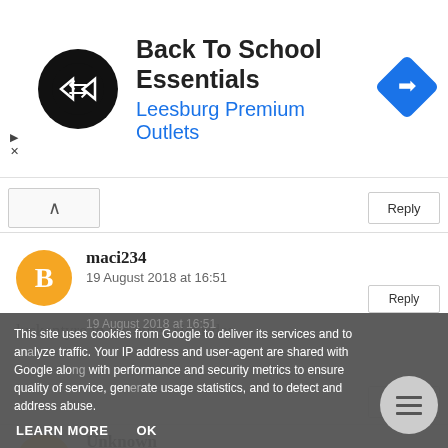[Figure (screenshot): Ad banner for Back To School Essentials at Leesburg Premium Outlets with a black circular logo and blue navigation diamond icon]
Reply
maci234
19 August 2018 at 16:51
luskentyre in the outer Hebrides
Reply
Unknown
19 August 2018 at 16:51
Reply
This site uses cookies from Google to deliver its services and to analyze traffic. Your IP address and user-agent are shared with Google along with performance and security metrics to ensure quality of service, generate usage statistics, and to detect and address abuse.
LEARN MORE
OK